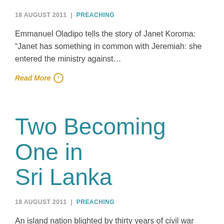18 AUGUST 2011 | PREACHING
Emmanuel Oladipo tells the story of Janet Koroma: “Janet has something in common with Jeremiah: she entered the ministry against…
Read More ›
Two Becoming One in Sri Lanka
18 AUGUST 2011 | PREACHING
An island nation blighted by thirty years of civil war and terrorist activity, Sri Lanka is a country with